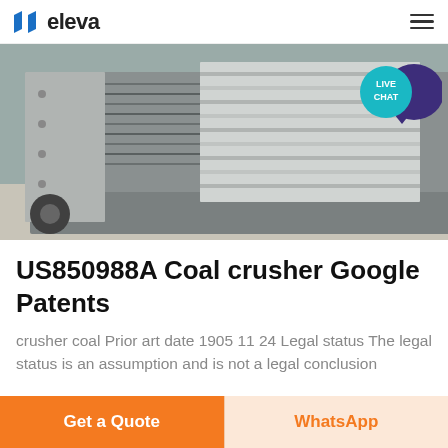eleva
[Figure (photo): Industrial coal crusher machine — a large metal vibrating screen/crusher unit photographed outdoors on a concrete surface, showing corrugated metal panels and heavy machinery components.]
US850988A Coal crusher Google Patents
crusher coal Prior art date 1905 11 24 Legal status The legal status is an assumption and is not a legal conclusion